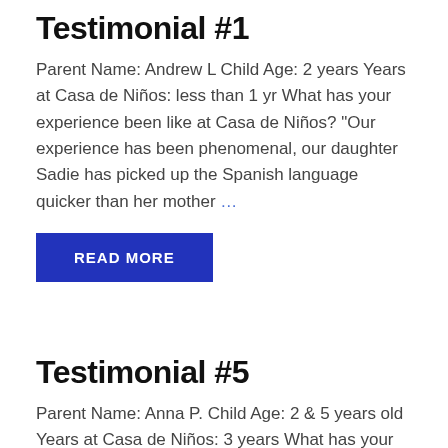Testimonial #1
Parent Name: Andrew L Child Age: 2 years Years at Casa de Niños: less than 1 yr What has your experience been like at Casa de Niños? “Our experience has been phenomenal, our daughter Sadie has picked up the Spanish language quicker than her mother …
READ MORE
Testimonial #5
Parent Name: Anna P. Child Age: 2 & 5 years old Years at Casa de Niños: 3 years What has your experience been like at Casa de Niños? “Since our children have been attending Casa de Niños, their critical thinking, responsibility, language, and social skills have grown tremendously…